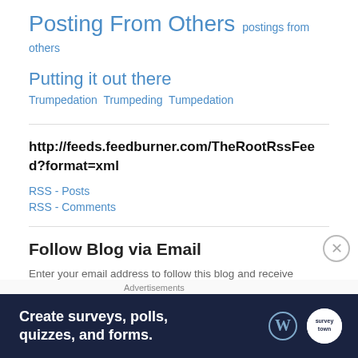Posting From Others  postings from others
Putting it out there  Trumpedation  Trumpeding  Tumpedation
http://feeds.feedburner.com/TheRootRssFeed?format=xml
RSS - Posts
RSS - Comments
Follow Blog via Email
Enter your email address to follow this blog and receive notifications of new posts by email.
Advertisements
[Figure (screenshot): Advertisement banner: dark navy background with white bold text 'Create surveys, polls, quizzes, and forms.' with WordPress and survey tool logos on the right]